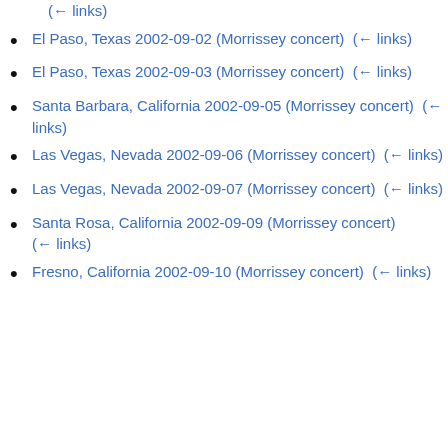(← links)
El Paso, Texas 2002-09-02 (Morrissey concert)  (← links)
El Paso, Texas 2002-09-03 (Morrissey concert)  (← links)
Santa Barbara, California 2002-09-05 (Morrissey concert)  (← links)
Las Vegas, Nevada 2002-09-06 (Morrissey concert)  (← links)
Las Vegas, Nevada 2002-09-07 (Morrissey concert)  (← links)
Santa Rosa, California 2002-09-09 (Morrissey concert) (← links)
Fresno, California 2002-09-10 (Morrissey concert)  (← links)